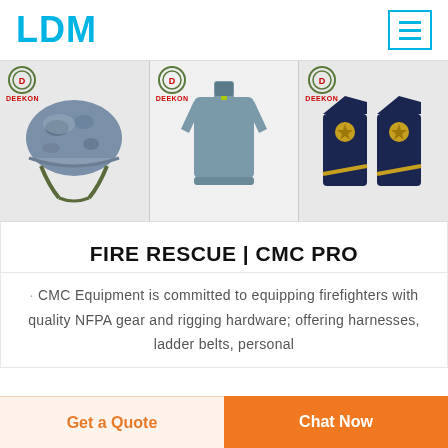LDM
[Figure (photo): Three product images side by side: a military/tactical helmet (grey camouflage), a grey softshell jacket, and navy blue military shoulder epaulettes with gold insignia, all with Deekon brand logos]
FIRE RESCUE | CMC PRO
· CMC Equipment is committed to equipping firefighters with quality NFPA gear and rigging hardware; offering harnesses, ladder belts, personal
Get a Quote  Chat Now